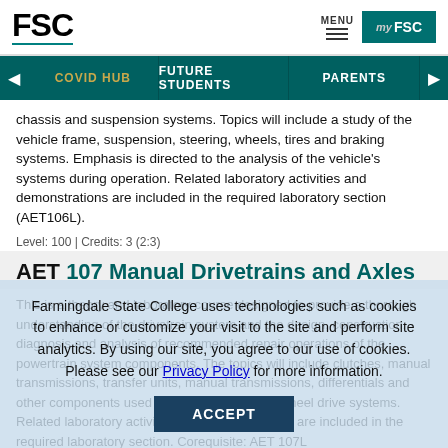FSC | MENU | myFSC
COVID HUB | FUTURE STUDENTS | PARENTS
chassis and suspension systems. Topics will include a study of the vehicle frame, suspension, steering, wheels, tires and braking systems. Emphasis is directed to the analysis of the vehicle's systems during operation. Related laboratory activities and demonstrations are included in the required laboratory section (AET106L).
Level: 100 | Credits: 3 (2:3)
AET 107 Manual Drivetrains and Axles
This is a theory and laboratory course designed to provide a thorough understanding of the drivetrain system and the design, construction, diagnosis and analysis of recommended repair operations of the powertrain system components. The topics will include clutches, manual transmissions, transfer units, manual transmissions, differentials and other components used in both front and rear wheel drive systems. Related laboratory activities and demonstrations are included in the required laboratory section. Corequisite: AET 107L
Level: 100 | Credits: 3 (2:3)
Farmingdale State College uses technologies such as cookies to enhance or customize your visit to the site and perform site analytics. By using our site, you agree to our use of cookies. Please see our Privacy Policy for more information.